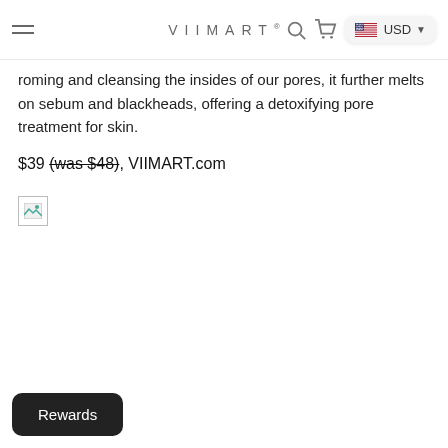VIIMART® USD
roming and cleansing the insides of our pores, it further melts on sebum and blackheads, offering a detoxifying pore treatment for skin.
$39 (was $48), VIIMART.com
[Figure (photo): Broken image placeholder icon]
Rewards